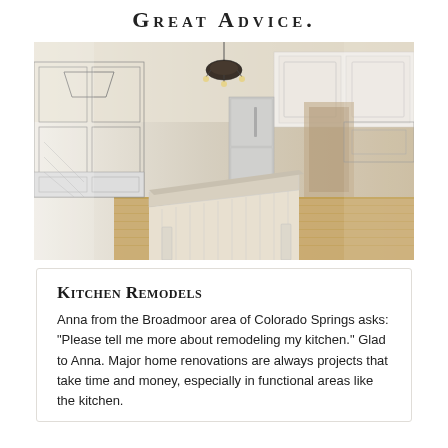Great Advice.
[Figure (illustration): Composite image showing a kitchen remodel — left half is an architectural line drawing/blueprint of a kitchen, right half transitions to a real photograph of a renovated kitchen with white cabinets, island, chandelier, and wood floors.]
Kitchen Remodels
Anna from the Broadmoor area of Colorado Springs asks: "Please tell me more about remodeling my kitchen." Glad to Anna. Major home renovations are always projects that take time and money, especially in functional areas like the kitchen.